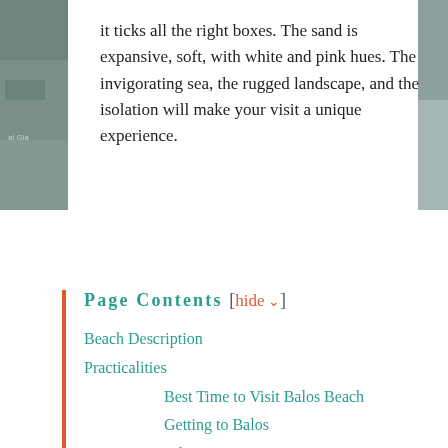[Figure (photo): Partial photo visible on left edge of page]
[Figure (photo): Partial photo visible on right edge of page]
it ticks all the right boxes. The sand is expansive, soft, with white and pink hues. The invigorating sea, the rugged landscape, and the isolation will make your visit a unique experience.
Page Contents [hide]
Beach Description
Practicalities
Best Time to Visit Balos Beach
Getting to Balos
Where to Stay
Where/What to Eat
Map